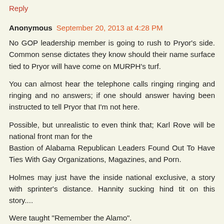Reply
Anonymous September 20, 2013 at 4:28 PM
No GOP leadership member is going to rush to Pryor's side. Common sense dictates they know should their name surface tied to Pryor will have come on MURPH's turf.
You can almost hear the telephone calls ringing ringing and ringing and no answers; if one should answer having been instructed to tell Pryor that I'm not here.
Possible, but unrealistic to even think that; Karl Rove will be national front man for the
Bastion of Alabama Republican Leaders Found Out To Have Ties With Gay Organizations, Magazines, and Porn.
Holmes may just have the inside national exclusive, a story with sprinter's distance. Hannity sucking hind tit on this story....
Were taught "Remember the Alamo".
"Remember Pearl Harbor".